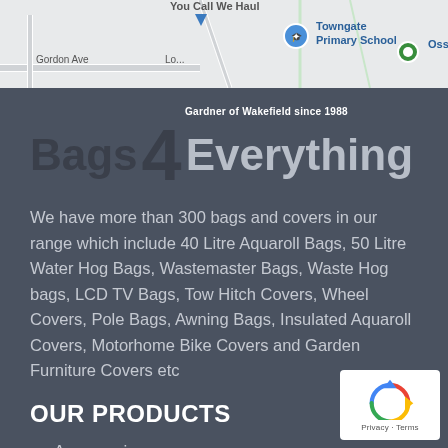[Figure (map): Google Maps screenshot showing Gordon Ave, You Call We Haul, Towngate Primary School, Ossett Tow... labels visible]
Bags 4 Everything — Gardner of Wakefield since 1988
We have more than 300 bags and covers in our range which include 40 Litre Aquaroll Bags, 50 Litre Water Hog Bags, Wastemaster Bags, Waste Hog bags, LCD TV Bags, Tow Hitch Covers, Wheel Covers, Pole Bags, Awning Bags, Insulated Aquaroll Covers, Motorhome Bike Covers and Garden Furniture Covers etc
OUR PRODUCTS
Accessories
Bike
[Figure (logo): Google reCAPTCHA badge with Privacy and Terms links]